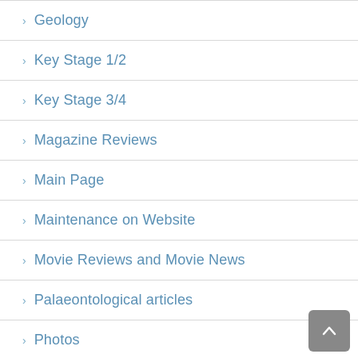Geology
Key Stage 1/2
Key Stage 3/4
Magazine Reviews
Main Page
Maintenance on Website
Movie Reviews and Movie News
Palaeontological articles
Photos